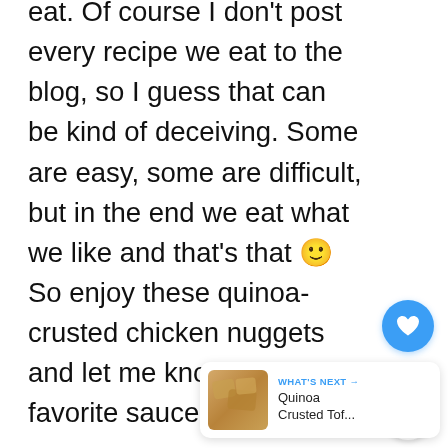eat. Of course I don't post every recipe we eat to the blog, so I guess that can be kind of deceiving. Some are easy, some are difficult, but in the end we eat what we like and that's that 🙂 So enjoy these quinoa-crusted chicken nuggets and let me know what your favorite sauce is to use!
[Figure (other): Blue circular like/heart button with heart icon, like count of 29, and a share button below]
[Figure (other): WHAT'S NEXT panel showing a food thumbnail image and text 'Quinoa Crusted Tof...']